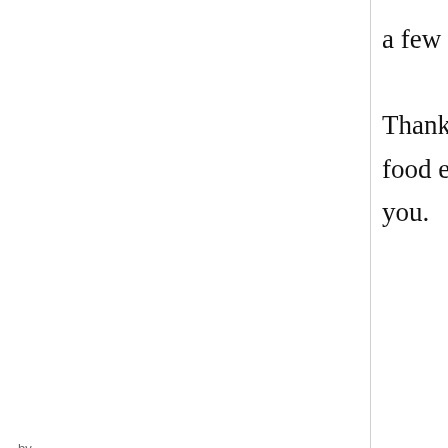a few to great success. Thanks for all the good food ever since I found you.
by
12 September, 2011 - 20:10
permalink
Re: The "Indo Karii" at Nakamuraya in Shinjuku, Tokyo plus ...